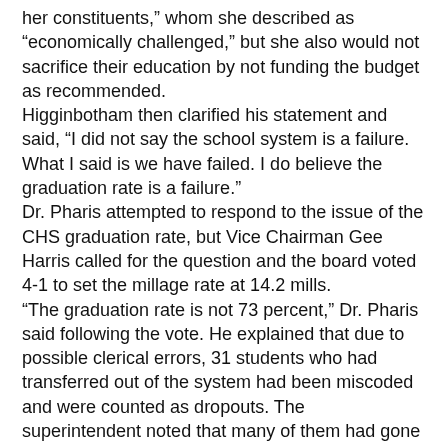her constituents," whom she described as "economically challenged," but she also would not sacrifice their education by not funding the budget as recommended.
Higginbotham then clarified his statement and said, "I did not say the school system is a failure. What I said is we have failed. I do believe the graduation rate is a failure."
Dr. Pharis attempted to respond to the issue of the CHS graduation rate, but Vice Chairman Gee Harris called for the question and the board voted 4-1 to set the millage rate at 14.2 mills.
"The graduation rate is not 73 percent," Dr. Pharis said following the vote. He explained that due to possible clerical errors, 31 students who had transferred out of the system had been miscoded and were counted as dropouts. The superintendent noted that many of them had gone to other schools and have graduated.
CHS Principal David McCurry told The Messenger this week, "We believe there are some errors somewhere."
McCurry says the statistics sent in to the state are conflicting with data on a Georgia Department of Education website (Longitudinal Data System).